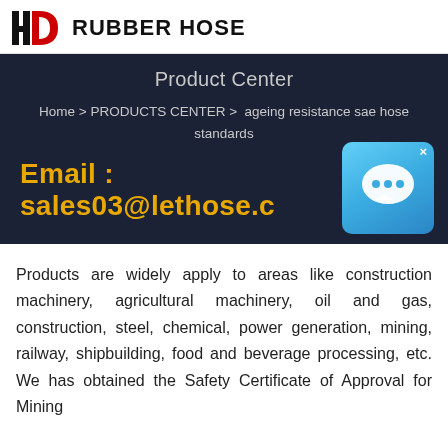HD RUBBER HOSE
Product Center
Home > PRODUCTS CENTER >  ageing resistance sae hose standards
Email : sales03@lethose.c
[Figure (illustration): Blue chat/messenger widget icon with speech bubble, white background, rounded square shape with X close button]
Products are widely apply to areas like construction machinery, agricultural machinery, oil and gas, construction, steel, chemical, power generation, mining, railway, shipbuilding, food and beverage processing, etc. We has obtained the Safety Certificate of Approval for Mining